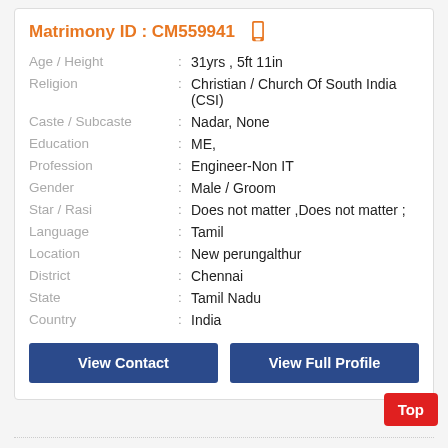Matrimony ID : CM559941
| Field | : | Value |
| --- | --- | --- |
| Age / Height | : | 31yrs , 5ft 11in |
| Religion | : | Christian / Church Of South India (CSI) |
| Caste / Subcaste | : | Nadar, None |
| Education | : | ME, |
| Profession | : | Engineer-Non IT |
| Gender | : | Male / Groom |
| Star / Rasi | : | Does not matter ,Does not matter ; |
| Language | : | Tamil |
| Location | : | New perungalthur |
| District | : | Chennai |
| State | : | Tamil Nadu |
| Country | : | India |
View Contact
View Full Profile